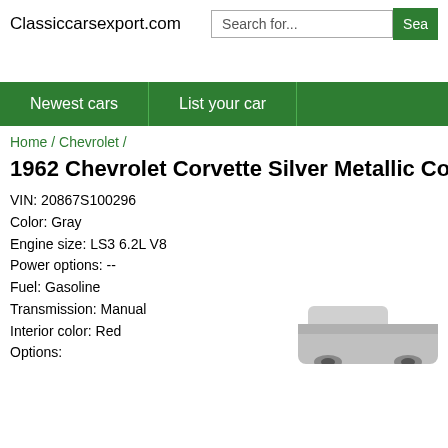Classiccarsexport.com
1962 Chevrolet Corvette Silver Metallic Convertible
Home / Chevrolet /
VIN: 20867S100296
Color: Gray
Engine size: LS3 6.2L V8
Power options: --
Fuel: Gasoline
Transmission: Manual
Interior color: Red
Options: